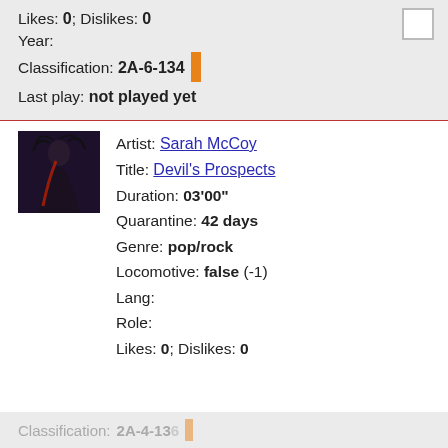Likes: 0; Dislikes: 0
Year:
Classification: 2A-6-134
Last play: not played yet
Artist: Sarah McCoy
Title: Devil's Prospects
Duration: 03'00"
Quarantine: 42 days
Genre: pop/rock
Locomotive: false (-1)
Lang:
Role:
Likes: 0; Dislikes: 0
© 2017-2019 TRQL Radio — All rights reserved.
Classification: 2A-4-136